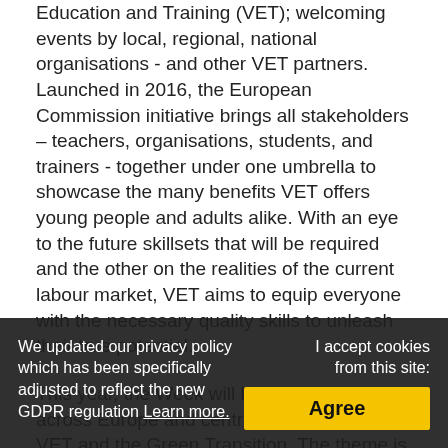Education and Training (VET); welcoming events by local, regional, national organisations - and other VET partners. Launched in 2016, the European Commission initiative brings all stakeholders – teachers, organisations, students, and trainers - together under one umbrella to showcase the many benefits VET offers young people and adults alike. With an eye to the future skillsets that will be required and the other on the realities of the current labour market, VET aims to equip everyone with the necessary quality skills to unleash their true potential.
This year, the Week will be held 16-20 May across Europe and centre on the theme of VET and the Green Transition. The theme is in line with the European Commission's commitment to taking all the necessary steps to become, which has been specifically known as the European Deal, including all the translations of the preceding linkEN•••, including equipping people with the
We updated our privacy policy which has been specifically adjusted to reflect the new GDPR regulation Learn more.
I accept cookies from this site:
Agree